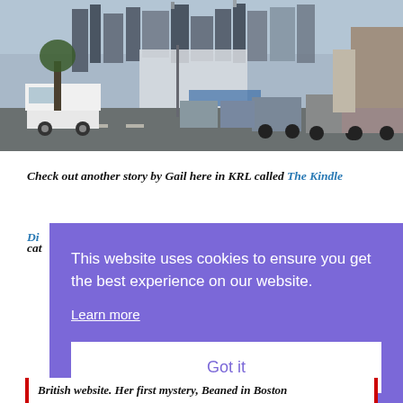[Figure (photo): Street scene in Boston with cars lined up on an urban road, city skyline with tall buildings visible in the background, taken from street level.]
Check out another story by Gail here in KRL called The Kindle Di[amond Diet — link truncated by overlay]
cat[egory text truncated by overlay]
[Figure (other): Cookie consent overlay with purple background reading: 'This website uses cookies to ensure you get the best experience on our website. Learn more' and a white 'Got it' button.]
British website. Her first mystery, Beaned in Boston